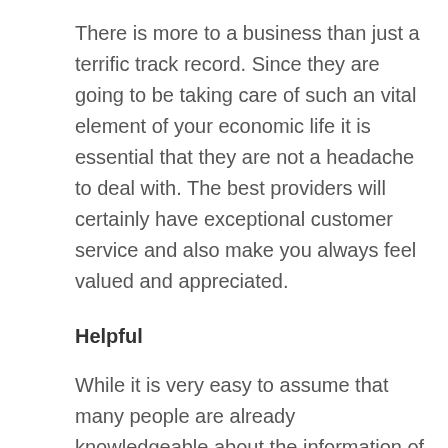There is more to a business than just a terrific track record. Since they are going to be taking care of such an vital element of your economic life it is essential that they are not a headache to deal with. The best providers will certainly have exceptional customer service and also make you always feel valued and appreciated.
Helpful
While it is very easy to assume that many people are already knowledgeable about the information of their financial investments a high-quality gold Individual Retirement Account supplier will head out of their means to make certain that you